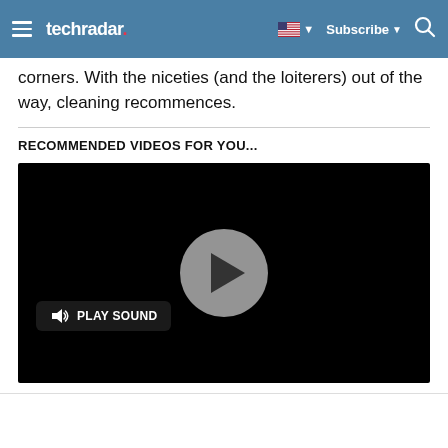techradar
corners. With the niceties (and the loiterers) out of the way, cleaning recommences.
RECOMMENDED VIDEOS FOR YOU...
[Figure (screenshot): Embedded video player with black background, a large circular play button in the center, and a 'PLAY SOUND' button in the lower-left corner.]